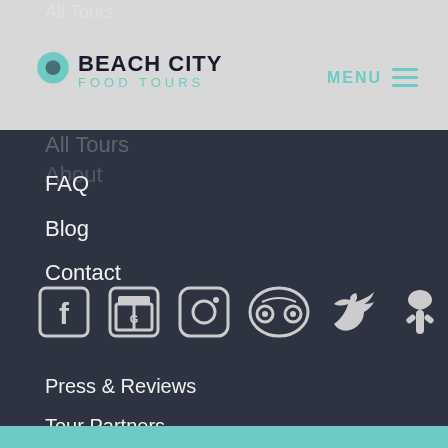BEACH CITY FOOD TOURS — MENU
All Tours
About
FAQ
Blog
Contact
[Figure (illustration): Social media icons row: Facebook, Google, Instagram, TripAdvisor, Twitter, Yelp]
Press & Reviews
Tour Partners
Waiver
Terms & Conditions
Privacy Policy